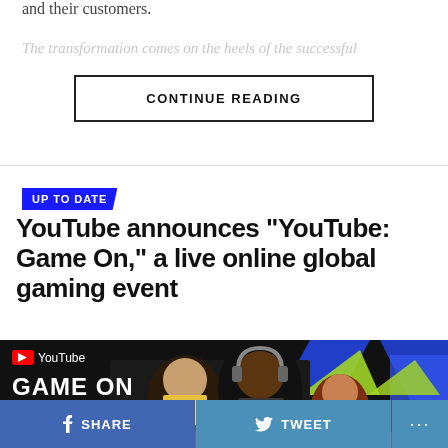and their customers.
The transformation comes on the heels of the successful
CONTINUE READING
UP TO DATE
YouTube announces “YouTube: Game On,” a live online global gaming event
[Figure (photo): YouTube Game On promotional thumbnail showing gaming personalities wearing headphones against dark background with blue and green geometric shapes and YouTube logo]
SHARE
TWEET